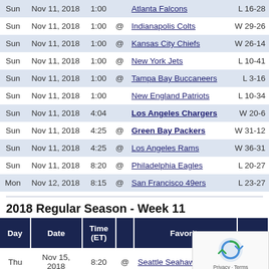| Day | Date | Time (ET) |  | Favorite | Result |
| --- | --- | --- | --- | --- | --- |
| Sun | Nov 11, 2018 | 1:00 |  | Atlanta Falcons | L 16-28 |
| Sun | Nov 11, 2018 | 1:00 | @ | Indianapolis Colts | W 29-26 |
| Sun | Nov 11, 2018 | 1:00 | @ | Kansas City Chiefs | W 26-14 |
| Sun | Nov 11, 2018 | 1:00 | @ | New York Jets | L 10-41 |
| Sun | Nov 11, 2018 | 1:00 | @ | Tampa Bay Buccaneers | L 3-16 |
| Sun | Nov 11, 2018 | 1:00 |  | New England Patriots | L 10-34 |
| Sun | Nov 11, 2018 | 4:04 |  | Los Angeles Chargers | W 20-6 |
| Sun | Nov 11, 2018 | 4:25 | @ | Green Bay Packers | W 31-12 |
| Sun | Nov 11, 2018 | 4:25 | @ | Los Angeles Rams | W 36-31 |
| Sun | Nov 11, 2018 | 8:20 | @ | Philadelphia Eagles | L 20-27 |
| Mon | Nov 12, 2018 | 8:15 | @ | San Francisco 49ers | L 23-27 |
2018 Regular Season - Week 11
| Day | Date | Time (ET) |  | Favorite |  |
| --- | --- | --- | --- | --- | --- |
| Thu | Nov 15, 2018 | 8:20 | @ | Seattle Seahawks | W 27-24 |